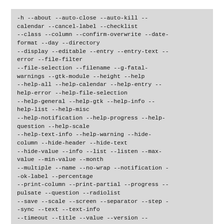-h --about --auto-close --auto-kill --calendar --cancel-label --checklist --class --column --confirm-overwrite --date-format --day --directory --display --editable --entry --entry-text --error --file-filter --file-selection --filename --g-fatal-warnings --gtk-module --height --help --help-all --help-calendar --help-entry --help-error --help-file-selection --help-general --help-gtk --help-info --help-list --help-misc --help-notification --help-progress --help-question --help-scale --help-text-info --help-warning --hide-column --hide-header --hide-text --hide-value --info --list --listen --max-value --min-value --month --multiple --name --no-wrap --notification --ok-label --percentage --print-column --print-partial --progress --pulsate --question --radiolist --save --scale --screen --separator --step --sync --text --text-info --timeout --title --value --version --warning --width --window-icon --year
However, there is no script provided with zenity to handle scripts which are newer than dialog 0.6c.